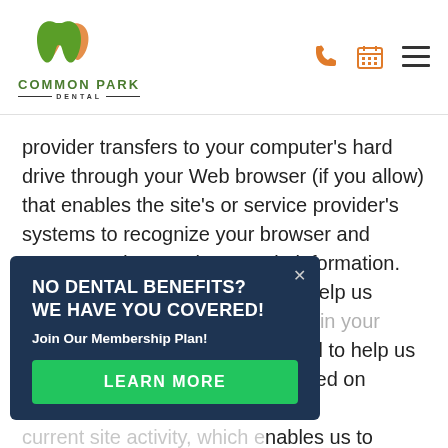[Figure (logo): Common Park Dental logo with green and orange tooth/leaf icon and text]
provider transfers to your computer's hard drive through your Web browser (if you allow) that enables the site's or service provider's systems to recognize your browser and capture and remember certain information. For instance, we use cookies to help us remember and process the items in your shopping cart. They are also used to help us understand your preferences based on previous or current site activity, which enables us to provide you with improved services. We also use cookies to help us compile aggregate data about site traffic and site
NO DENTAL BENEFITS?
WE HAVE YOU COVERED!
Join Our Membership Plan!
LEARN MORE